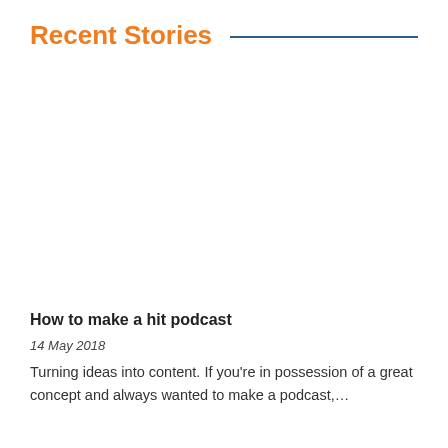Recent Stories
How to make a hit podcast
14 May 2018
Turning ideas into content. If you're in possession of a great concept and always wanted to make a podcast,…